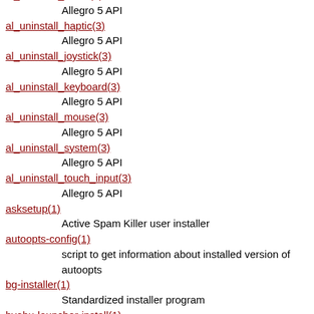al_uninstall_audio(1)
        Allegro 5 API
al_uninstall_haptic(3)
        Allegro 5 API
al_uninstall_joystick(3)
        Allegro 5 API
al_uninstall_keyboard(3)
        Allegro 5 API
al_uninstall_mouse(3)
        Allegro 5 API
al_uninstall_system(3)
        Allegro 5 API
al_uninstall_touch_input(3)
        Allegro 5 API
asksetup(1)
        Active Spam Killer user installer
autoopts-config(1)
        script to get information about installed version of autoopts
bg-installer(1)
        Standardized installer program
byobu-launcher-install(1)
        Byobu Launcher installation utility
byobu-launcher-uninstall(1)
        Byobu Launcher uninstallation utility
caca-config(1)